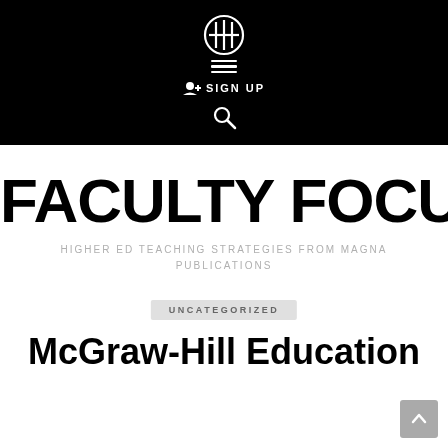[Figure (logo): Black navigation header bar with circular FF logo icon, hamburger menu lines, SIGN UP button with user icon, and search magnifying glass icon on black background]
FACULTY FOCUS
HIGHER ED TEACHING STRATEGIES FROM MAGNA PUBLICATIONS
UNCATEGORIZED
McGraw-Hill Education